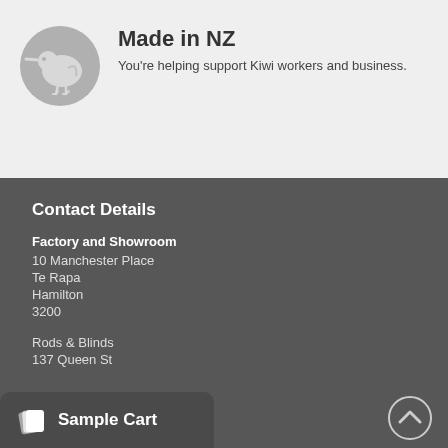[Figure (logo): Kiwi bird icon in a grey circle]
Made in NZ
You're helping support Kiwi workers and business.
Contact Details
Factory and Showroom
10 Manchester Place
Te Rapa
Hamilton
3200
Rods & Blinds
137 Queen St